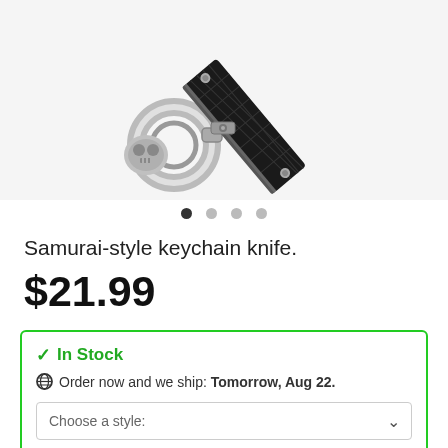[Figure (photo): Close-up product photo of a samurai-style keychain knife showing the black diamond-pattern handle and metal keyring attachment with silver hardware against a white background]
Samurai-style keychain knife.
$21.99
✓ In Stock
Order now and we ship: Tomorrow, Aug 22.
Choose a style:
Qty: 1